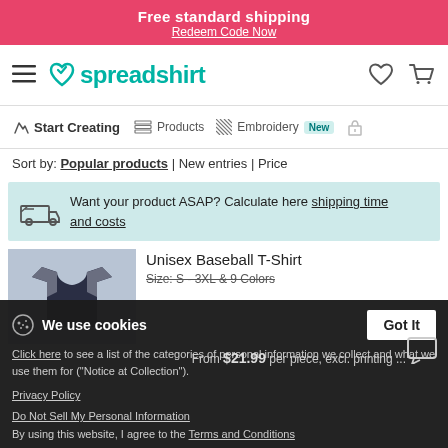Free standard shipping
Redeem Code Now
[Figure (screenshot): Spreadshirt logo with teal heart icon and navigation icons (heart, shopping cart)]
Start Creating | Products | Embroidery New
Sort by: Popular products | New entries | Price
Want your product ASAP? Calculate here shipping time and costs
[Figure (photo): Unisex Baseball T-Shirt product image - dark navy and grey long sleeve shirt]
Unisex Baseball T-Shirt
Size: S - 3XL & 9 Colors
From $21.99 per piece, excl. printing ...
We use cookies
Click here to see a list of the categories of personal information we collect and what we use them for ("Notice at Collection").
Privacy Policy
Do Not Sell My Personal Information
By using this website, I agree to the Terms and Conditions